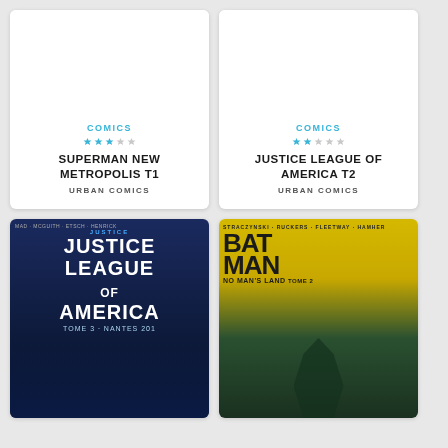[Figure (illustration): Book card for Superman New Metropolis T1 - white card with placeholder image area, COMICS label, 3 blue diamond stars and 2 grey stars, title in bold uppercase, publisher Urban Comics]
[Figure (illustration): Book card for Justice League of America T2 - white card with placeholder image area, COMICS label, 2 blue diamond stars and 3 grey stars, title in bold uppercase, publisher Urban Comics]
[Figure (illustration): Cover image of Justice League of America comic - dark blue cover with Justice League of America title in large white text, DC Comics logo, superhero figures]
[Figure (illustration): Cover image of Batman No Man's Land comic - yellow and green cover with Batman in large text, Batman figure in silhouette, No Man's Land subtitle]